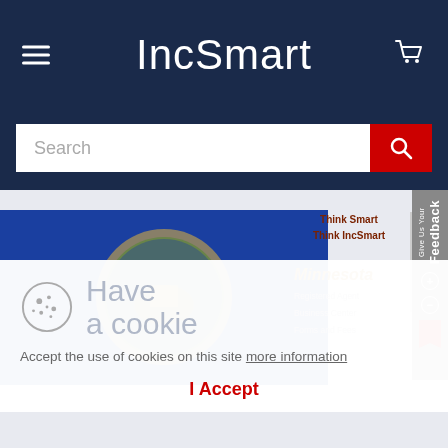IncSmart
[Figure (screenshot): IncSmart website screenshot showing navigation header with hamburger menu, IncSmart logo/title, cart icon, search bar, Minnesota state flag image, Think Smart Think IncSmart tagline, Minnesota section links (Registered Agent, Business Center, Forms and Fees), feedback tab, and cookie consent overlay with cookie icon, 'Have a cookie' text, accept cookies message with more information link, and I Accept button.]
Have a cookie
Accept the use of cookies on this site more information
I Accept